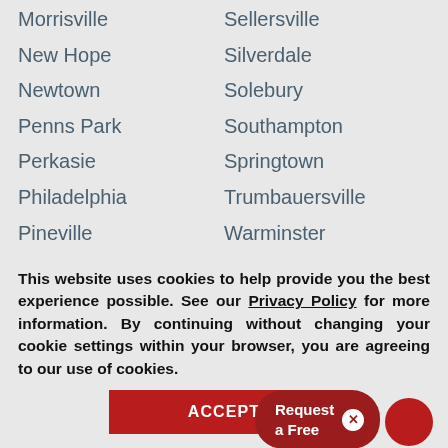Morrisville
Sellersville
New Hope
Silverdale
Newtown
Solebury
Penns Park
Southampton
Perkasie
Springtown
Philadelphia
Trumbauersville
Pineville
Warminster
Pipersville
Warrington
Plumsteadville
Washington Crossing
Point Pleasant
Richboro
Wyco[mbe]
This website uses cookies to help provide you the best experience possible. See our Privacy Policy for more information. By continuing without changing your cookie settings within your browser, you are agreeing to our use of cookies.
ACCEPT